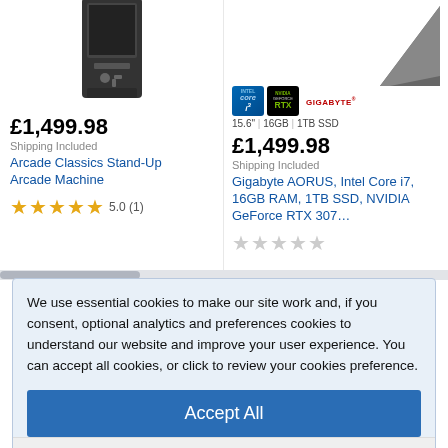[Figure (photo): Arcade Classics Stand-Up Arcade Machine product image (black cabinet, top portion)]
£1,499.98
Shipping Included
Arcade Classics Stand-Up Arcade Machine
5.0 (1)
[Figure (photo): Gigabyte AORUS laptop product image (partial, corner visible), with Intel Core i3 and NVIDIA GeForce RTX badges, GIGABYTE logo, 15.6" | 16GB | 1TB SSD spec line]
£1,499.98
Shipping Included
Gigabyte AORUS, Intel Core i7, 16GB RAM, 1TB SSD, NVIDIA GeForce RTX 307...
We use essential cookies to make our site work and, if you consent, optional analytics and preferences cookies to understand our website and improve your user experience. You can accept all cookies, or click to review your cookies preference.
Accept All
Review